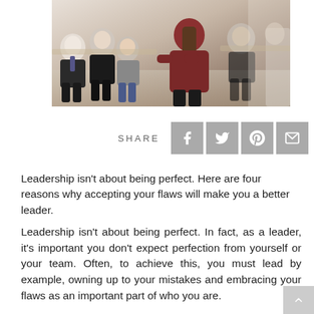[Figure (photo): A woman with a braid in a dark red sweater standing/sitting with her back to the camera, facing a group of people seated in an office/meeting setting.]
SHARE
[Figure (infographic): Social share buttons: Facebook, Twitter, Pinterest, Email]
Leadership isn't about being perfect. Here are four reasons why accepting your flaws will make you a better leader.
Leadership isn't about being perfect. In fact, as a leader, it's important you don't expect perfection from yourself or your team. Often, to achieve this, you must lead by example, owning up to your mistakes and embracing your flaws as an important part of who you are.